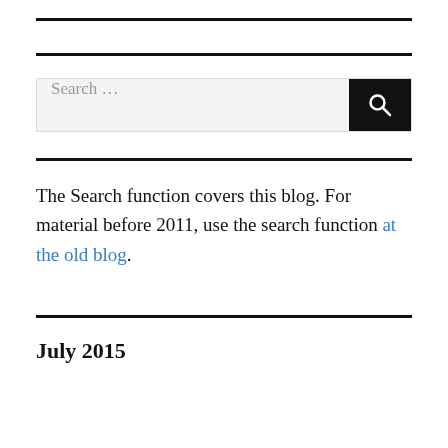[Figure (other): Search input box with search button]
The Search function covers this blog. For material before 2011, use the search function at the old blog.
July 2015